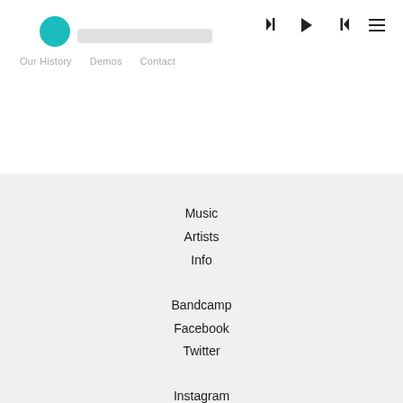Our History  Demos  Contact
Music
Artists
Info
Bandcamp
Facebook
Twitter
Instagram
SoundCloud
MixCloud